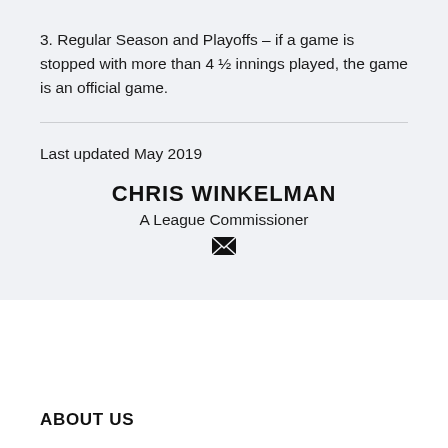3. Regular Season and Playoffs – if a game is stopped with more than 4 ½ innings played, the game is an official game.
Last updated May 2019
CHRIS WINKELMAN
A League Commissioner
ABOUT US